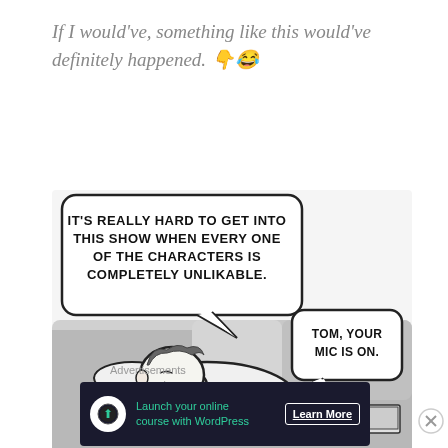If I would've, something like this would've definitely happened. 👇😂
[Figure (illustration): Comic strip showing a man lying on a couch with two speech bubbles. First bubble says: IT'S REALLY HARD TO GET INTO THIS SHOW WHEN EVERY ONE OF THE CHARACTERS IS COMPLETELY UNLIKABLE. Second bubble says: TOM, YOUR MIC IS ON.]
Advertisements
Launch your online course with WordPress  Learn More